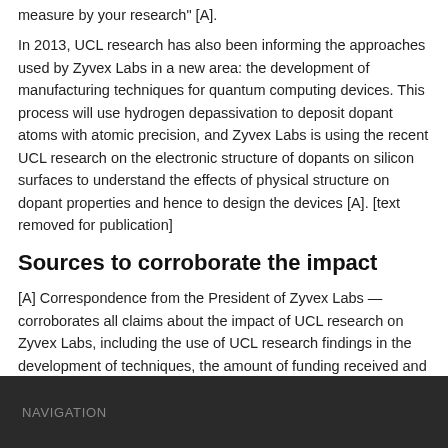measure by your research" [A].
In 2013, UCL research has also been informing the approaches used by Zyvex Labs in a new area: the development of manufacturing techniques for quantum computing devices. This process will use hydrogen depassivation to deposit dopant atoms with atomic precision, and Zyvex Labs is using the recent UCL research on the electronic structure of dopants on silicon surfaces to understand the effects of physical structure on dopant properties and hence to design the devices [A]. [text removed for publication]
Sources to corroborate the impact
[A] Correspondence from the President of Zyvex Labs — corroborates all claims about the impact of UCL research on Zyvex Labs, including the use of UCL research findings in the development of techniques, the amount of funding received and the generation of new employment. Available on request.
NAVIGATION